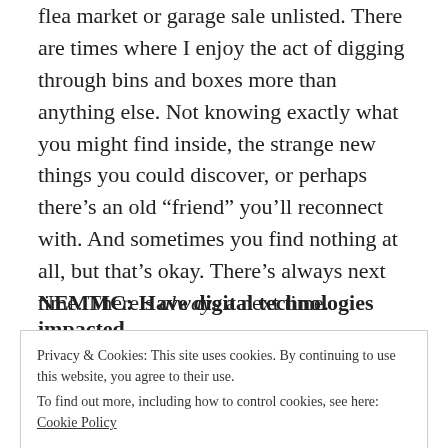flea market or garage sale unlisted. There are times where I enjoy the act of digging through bins and boxes more than anything else. Not knowing exactly what you might find inside, the strange new things you could discover, or perhaps there's an old “friend” you’ll reconnect with. And sometimes you find nothing at all, but that’s okay. There’s always next time. There’s always a next time.
NEMMC: Have digital technologies impacted
Privacy & Cookies: This site uses cookies. By continuing to use this website, you agree to their use.
To find out more, including how to control cookies, see here: Cookie Policy